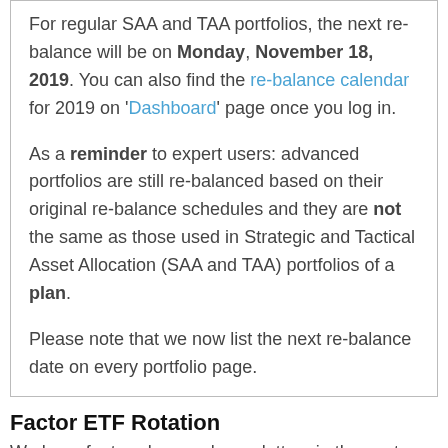For regular SAA and TAA portfolios, the next re-balance will be on Monday, November 18, 2019. You can also find the re-balance calendar for 2019 on 'Dashboard' page once you log in.

As a reminder to expert users: advanced portfolios are still re-balanced based on their original re-balance schedules and they are not the same as those used in Strategic and Tactical Asset Allocation (SAA and TAA) portfolios of a plan.

Please note that we now list the next re-balance date on every portfolio page.
Factor ETF Rotation
We have featured several newsletters in the past several months on factor ETFs. In last week's newsletter, we featured a multi-factor allocation portfolio that shows a great promise to utilize these ETFs in portfolio construction.